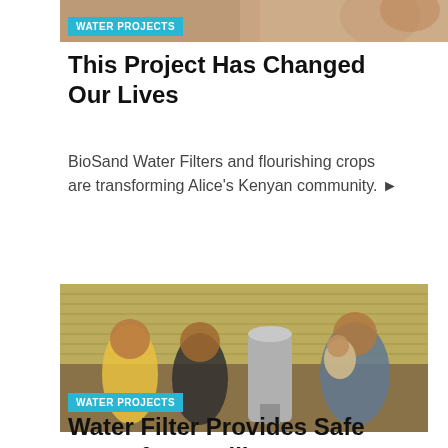[Figure (photo): Partial photo cropped at top of page, showing people outdoors, with a WATER PROJECTS badge overlay]
WATER PROJECTS
This Project Has Changed Our Lives
BioSand Water Filters and flourishing crops are transforming Alice's Kenyan community. ▶
[Figure (photo): A smiling family (two children and a mother holding a baby) standing next to a biosand water filter in front of a thatched roof, with a WATER PROJECTS badge overlay]
WATER PROJECTS
Water Filter Provides Safe Water for Families